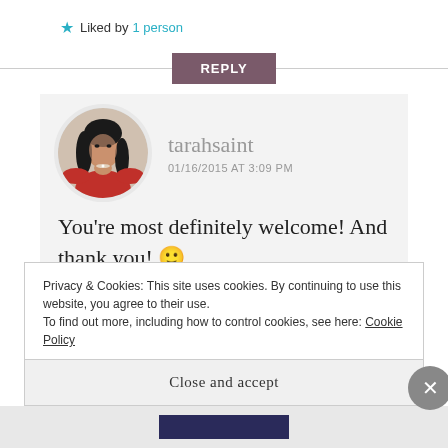Liked by 1 person
REPLY
[Figure (photo): Avatar photo of tarahsaint, a woman in a red off-shoulder top with long dark hair]
tarahsaint
01/16/2015 AT 3:09 PM
You're most definitely welcome! And thank you! 🙂
Privacy & Cookies: This site uses cookies. By continuing to use this website, you agree to their use.
To find out more, including how to control cookies, see here: Cookie Policy
Close and accept